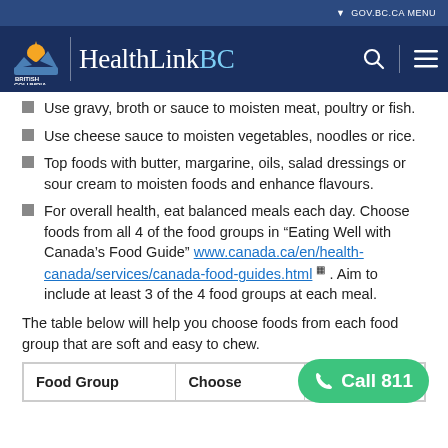GOV.BC.CA MENU | HealthLinkBC
Use gravy, broth or sauce to moisten meat, poultry or fish.
Use cheese sauce to moisten vegetables, noodles or rice.
Top foods with butter, margarine, oils, salad dressings or sour cream to moisten foods and enhance flavours.
For overall health, eat balanced meals each day. Choose foods from all 4 of the food groups in "Eating Well with Canada's Food Guide" www.canada.ca/en/health-canada/services/canada-food-guides.html . Aim to include at least 3 of the 4 food groups at each meal.
The table below will help you choose foods from each food group that are soft and easy to chew.
| Food Group | Choose | Avoid |
| --- | --- | --- |